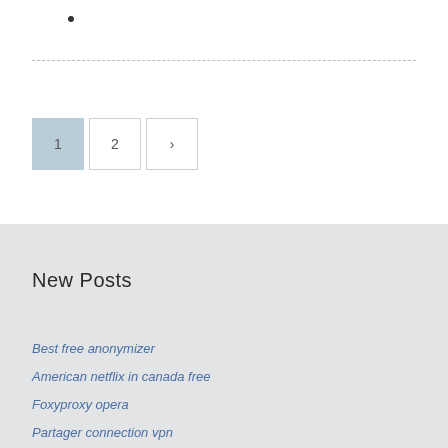•
1 2 ›
New Posts
Best free anonymizer
American netflix in canada free
Foxyproxy opera
Partager connection vpn